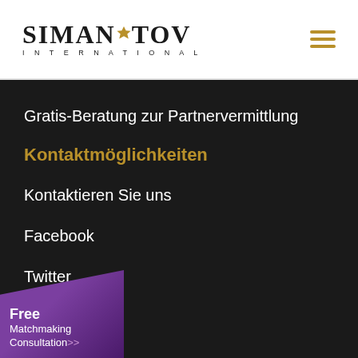SIMANTOV INTERNATIONAL
Gratis-Beratung zur Partnervermittlung
Kontaktmöglichkeiten
Kontaktieren Sie uns
Facebook
Twitter
Linkedin
Free Matchmaking Consultation >>